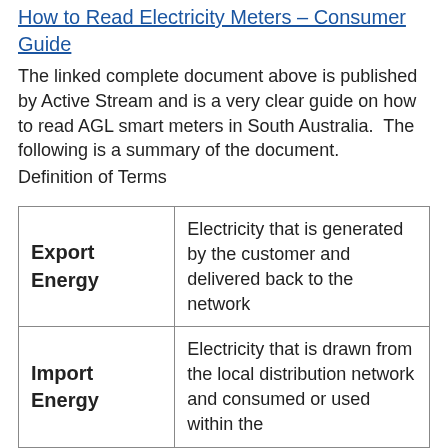How to Read Electricity Meters – Consumer Guide
The linked complete document above is published by Active Stream and is a very clear guide on how to read AGL smart meters in South Australia.  The following is a summary of the document.
Definition of Terms
| Term | Definition |
| --- | --- |
| Export Energy | Electricity that is generated by the customer and delivered back to the network |
| Import Energy | Electricity that is drawn from the local distribution network and consumed or used within the |